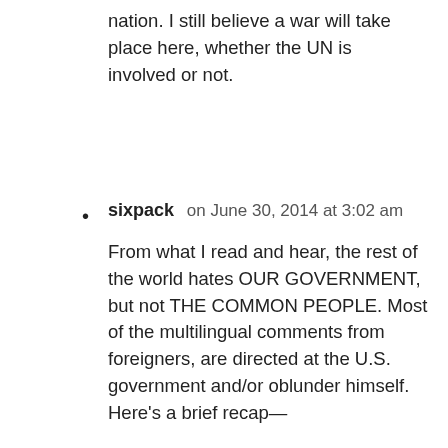nation. I still believe a war will take place here, whether the UN is involved or not.
sixpack on June 30, 2014 at 3:02 am

From what I read and hear, the rest of the world hates OUR GOVERNMENT, but not THE COMMON PEOPLE. Most of the multilingual comments from foreigners, are directed at the U.S. government and/or oblunder himself. Here's a brief recap—

The people in the EU are getting pretty fed up with the European union and want out.

South America thinks we're crazy